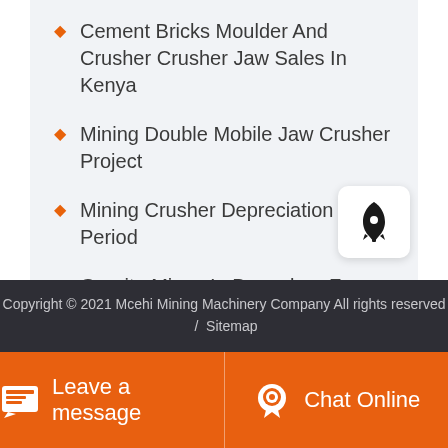Cement Bricks Moulder And Crusher Crusher Jaw Sales In Kenya
Mining Double Mobile Jaw Crusher Project
Mining Crusher Depreciation Period
Granite Mines In Bangalore For Sale
Bald Rooster Brewing Company
Copyright © 2021 Mcehi Mining Machinery Company All rights reserved / Sitemap
Leave a message
Chat Online